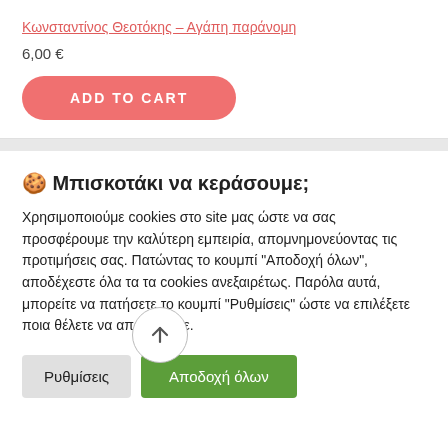Κωνσταντίνος Θεοτόκης – Αγάπη παράνομη
6,00 €
ADD TO CART
🍪 Μπισκοτάκι να κεράσουμε;
Χρησιμοποιούμε cookies στο site μας ώστε να σας προσφέρουμε την καλύτερη εμπειρία, απομνημονεύοντας τις προτιμήσεις σας. Πατώντας το κουμπί "Αποδοχή όλων", αποδέχεστε όλα τα τα cookies ανεξαιρέτως. Παρόλα αυτά, μπορείτε να πατήσετε το κουμπί "Ρυθμίσεις" ώστε να επιλέξετε ποια θέλετε να αποδεχτείτε.
Ρυθμίσεις
Αποδοχή όλων